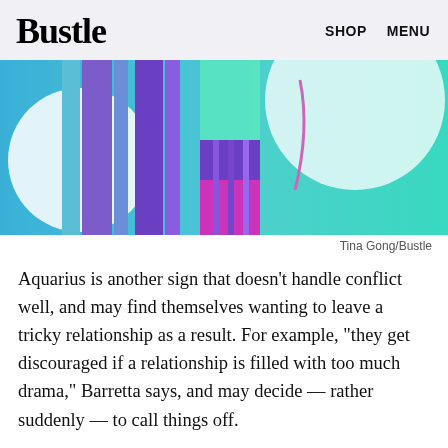Bustle   SHOP   MENU
[Figure (illustration): Abstract colorful illustration with vertical bars in blue, purple, teal, and magenta on a teal/blue gradient background with a white circular shape]
Tina Gong/Bustle
Aquarius is another sign that doesn't handle conflict well, and may find themselves wanting to leave a tricky relationship as a result. For example, "they get discouraged if a relationship is filled with too much drama," Barretta says, and may decide — rather suddenly — to call things off.